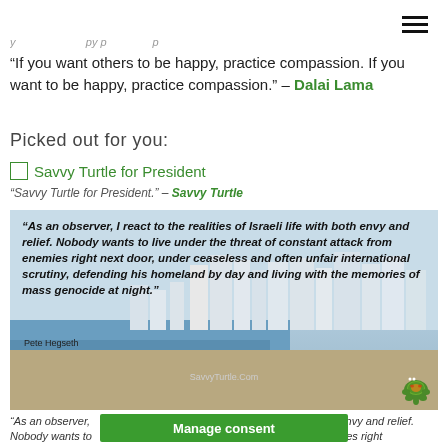≡
...y ... ... ...py p... ...p...
“If you want others to be happy, practice compassion. If you want to be happy, practice compassion.” – Dalai Lama
Picked out for you:
[Savvy Turtle for President] Savvy Turtle for President
“Savvy Turtle for President.” – Savvy Turtle
[Figure (photo): Aerial/cityscape photo of an Israeli coastal city (Tel Aviv) with skyline, beach, and sea. Overlaid with a bold italic quote by Pete Hegseth about observing Israeli life, and a SavvyTurtle.Com watermark with a turtle logo.]
“As an observer, I react to the realities of Israeli life with both envy and relief. Nobody wants to ... constant attack from enemies right